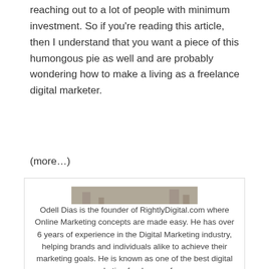reaching out to a lot of people with minimum investment. So if you're reading this article, then I understand that you want a piece of this humongous pie as well and are probably wondering how to make a living as a freelance digital marketer.
(more…)
[Figure (photo): Portrait photo of Odell Dias, a man with glasses holding a drink, sitting in a casual setting]
Odell Dias
Odell Dias is the founder of RightlyDigital.com where Online Marketing concepts are made easy. He has over 6 years of experience in the Digital Marketing industry, helping brands and individuals alike to achieve their marketing goals. He is known as one of the best digital marketing freelancers for